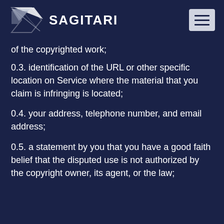SAGITARI
of the copyrighted work;
0.3. identification of the URL or other specific location on Service where the material that you claim is infringing is located;
0.4. your address, telephone number, and email address;
0.5. a statement by you that you have a good faith belief that the disputed use is not authorized by the copyright owner, its agent, or the law;